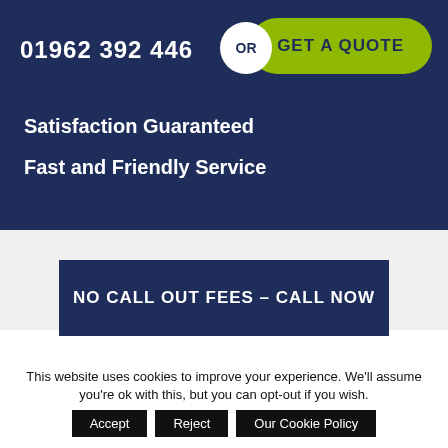01962 392 446
OR
GET A QUOTE
Satisfaction Guaranteed
Fast and Friendly Service
NO CALL OUT FEES – CALL NOW
This website uses cookies to improve your experience. We'll assume you're ok with this, but you can opt-out if you wish.
Accept
Reject
Our Cookie Policy